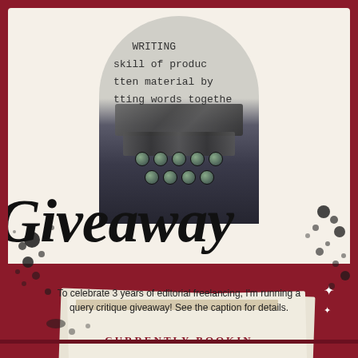[Figure (photo): Top section: cream/off-white background card with an arch-shaped photo of a typewriter showing text 'WRITING skill of producing written material by putting words together', overlaid with large cursive black 'Giveaway' script text and ink splatter decoration]
To celebrate 3 years of editorial freelancing, I'm running a query critique giveaway! See the caption for details.
[Figure (photo): Bottom section: dark red background with partially visible paper/card showing 'CURRENTLY BOOKING' text in red serif capitals, with tape strip and decorative stars]